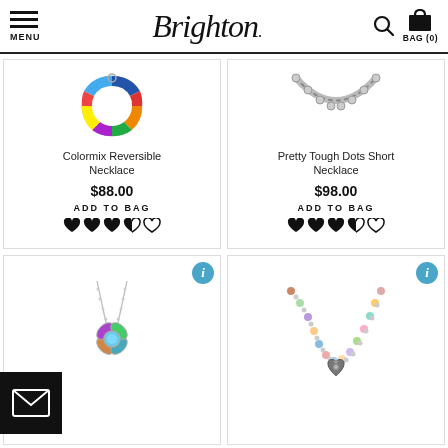MENU | Brighton. | BAG (0)
[Figure (photo): Colormix Reversible Necklace — colorful mosaic circular pendant]
Colormix Reversible Necklace
$88.00
ADD TO BAG
[Figure (photo): Pretty Tough Dots Short Necklace — silver chain with dot details]
Pretty Tough Dots Short Necklace
$98.00
ADD TO BAG
[Figure (photo): Silver necklace with floral blue topaz pendant]
[Figure (photo): Multi-color beaded necklace with heart charm]